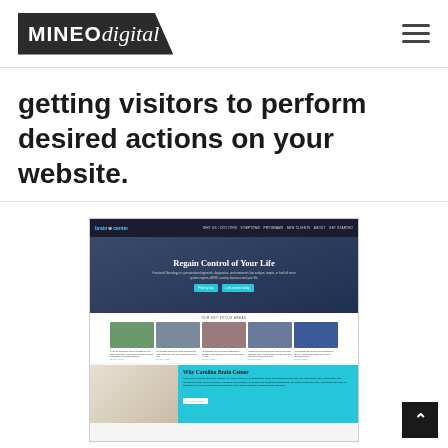MINEO digital [logo with hamburger menu]
getting visitors to perform desired actions on your website.
[Figure (screenshot): Screenshot of Carolina Brain Center website showing homepage with hero section 'Regain Control of Your Life', focus areas with photo cards, and 'Why Carolina Brain Center' section with teal background]
[Figure (other): Back-to-top button (dark square with upward chevron) in bottom-right corner]